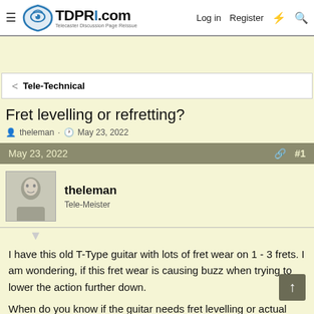TDPRI.com — Telecaster Discussion Page Reissue | Log in | Register
[Advertisement area]
< Tele-Technical
Fret levelling or refretting?
theleman · May 23, 2022
May 23, 2022  #1
theleman
Tele-Meister
I have this old T-Type guitar with lots of fret wear on 1 - 3 frets. I am wondering, if this fret wear is causing buzz when trying to lower the action further down.

When do you know if the guitar needs fret levelling or actual